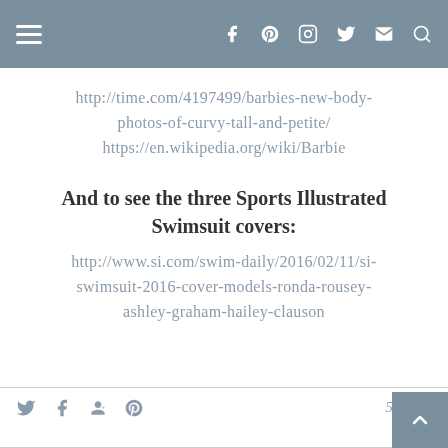Navigation bar with hamburger menu and social icons
http://time.com/4197499/barbies-new-body-photos-of-curvy-tall-and-petite/
https://en.wikipedia.org/wiki/Barbie
And to see the three Sports Illustrated Swimsuit covers:
http://www.si.com/swim-daily/2016/02/11/si-swimsuit-2016-cover-models-ronda-rousey-ashley-graham-hailey-clauson
5 comments